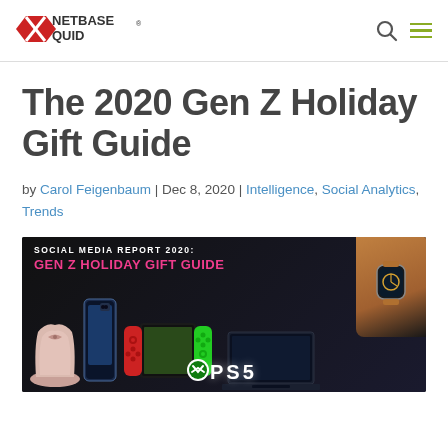NetBase Quid [logo] [search icon] [menu icon]
The 2020 Gen Z Holiday Gift Guide
by Carol Feigenbaum | Dec 8, 2020 | Intelligence, Social Analytics, Trends
[Figure (photo): Social Media Report 2020: Gen Z Holiday Gift Guide banner image showing UGG boots, iPhone, Nintendo Switch, laptop, PS5 controller, Apple Watch and other products on a dark background]